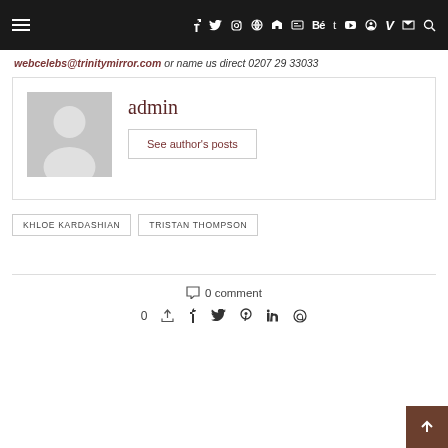≡  f  𝕏  ○  ◉  in  □  Bé  t  ▶  ○  V  ≋  🔍
webcelebs@trinitymirror.com or name us direct 0207 29 33033
admin
See author's posts
KHLOE KARDASHIAN
TRISTAN THOMPSON
0 comment
0